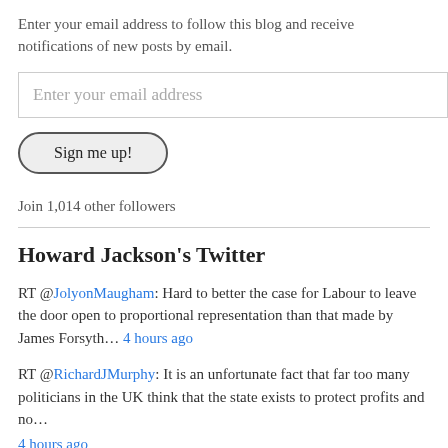Enter your email address to follow this blog and receive notifications of new posts by email.
Enter your email address
Sign me up!
Join 1,014 other followers
Howard Jackson's Twitter
RT @JolyonMaugham: Hard to better the case for Labour to leave the door open to proportional representation than that made by James Forsyth… 4 hours ago
RT @RichardJMurphy: It is an unfortunate fact that far too many politicians in the UK think that the state exists to protect profits and no… 4 hours ago
RT @MerseyPensioner: The #ToryCostOfLivingCrisis will hit Pensioners